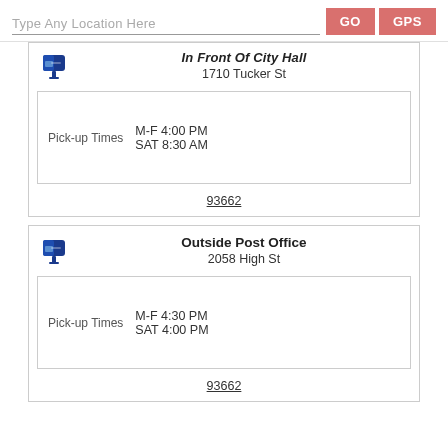Type Any Location Here
GO
GPS
In Front Of City Hall
1710 Tucker St
Pick-up Times  M-F 4:00 PM  SAT 8:30 AM
93662
Outside Post Office
2058 High St
Pick-up Times  M-F 4:30 PM  SAT 4:00 PM
93662